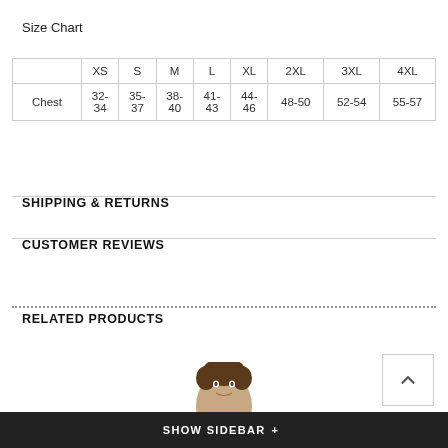Size Chart
|  | XS | S | M | L | XL | 2XL | 3XL | 4XL |
| --- | --- | --- | --- | --- | --- | --- | --- | --- |
| Chest | 32-34 | 35-37 | 38-40 | 41-43 | 44-46 | 48-50 | 52-54 | 55-57 |
SHIPPING & RETURNS
CUSTOMER REVIEWS
RELATED PRODUCTS
[Figure (photo): Person's head/face visible at bottom center of page]
SHOW SIDEBAR +